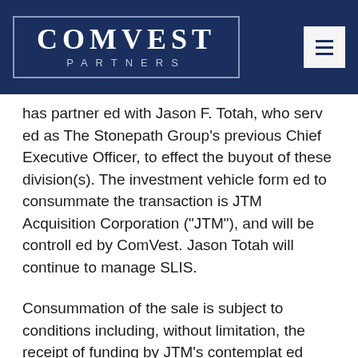[Figure (logo): Comvest Partners logo: white text 'COMVEST' above 'PARTNERS' in a rectangular border, on dark navy background, with a hamburger menu icon button at top right]
has partnered with Jason F. Totah, who served as The Stonepath Group's previous Chief Executive Officer, to effect the buyout of these division(s). The investment vehicle formed to consummate the transaction is JTM Acquisition Corporation ("JTM"), and will be controlled by ComVest. Jason Totah will continue to manage SLIS.
Consummation of the sale is subject to conditions including, without limitation, the receipt of funding by JTM's contemplated source of financing for the sale, receipt by JTM and Stonepath of applicable consents, approvals and releases, and the receipt by Stonepath of…